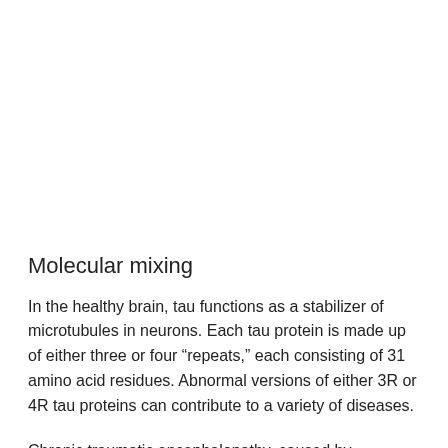Molecular mixing
In the healthy brain, tau functions as a stabilizer of microtubules in neurons. Each tau protein is made up of either three or four “repeats,” each consisting of 31 amino acid residues. Abnormal versions of either 3R or 4R tau proteins can contribute to a variety of diseases.
Chronic traumatic encephalopathy, caused by repetitive head trauma, is linked to abnormal accumulation of both